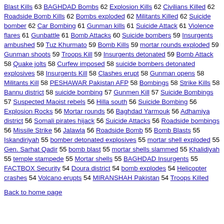Blast Kills 63 BAGHDAD Bombs 62 Explosion Kills 62 Civilians Killed 62 Roadside Bomb Kills 62 Bombs exploded 62 Militants Killed 62 Suicide bomber 62 Car Bombing 61 Gunman kills 61 Suicide Attack 61 Violence flares 61 Gunbattle 61 Bomb Attacks 60 Suicide bombers 59 Insurgents ambushed 59 Tuz Khurmato 59 Bomb Kills 59 mortar rounds exploded 59 Gunman shoots 59 Troops Kill 59 Insurgents detonated 59 Bomb Attack 58 Quake jolts 58 Curfew imposed 58 suicide bombers detonated explosives 58 Insurgents Kill 58 Clashes erupt 58 Gunman opens 58 Militants Kill 58 PESHAWAR Pakistan AFP 58 Bombings 58 Strike Kills 58 Bannu district 58 suicide bombing 57 Gunmen Kill 57 Suicide Bombings 57 Suspected Maoist rebels 56 Hilla south 56 Suicide Bombing 56 Explosion Rocks 56 Mortar rounds 56 Baghdad Yarmouk 56 Adhamiya district 56 Somali pirates hijack 56 Suicide Attacks 56 Roadside bombings 56 Missile Strike 56 Jalawla 56 Roadside Bomb 55 Bomb Blasts 55 Iskandiriyah 55 bomber detonated explosives 55 mortar shell exploded 55 Gen. Sarhat Qadir 55 bomb blast 55 mortar shells slammed 55 Khalidiyah 55 temple stampede 55 Mortar shells 55 BAGHDAD Insurgents 55 FACTBOX Security 54 Doura district 54 bomb explodes 54 Helicopter crashes 54 Volcano erupts 54 MIRANSHAH Pakistan 54 Troops Killed
Back to home page